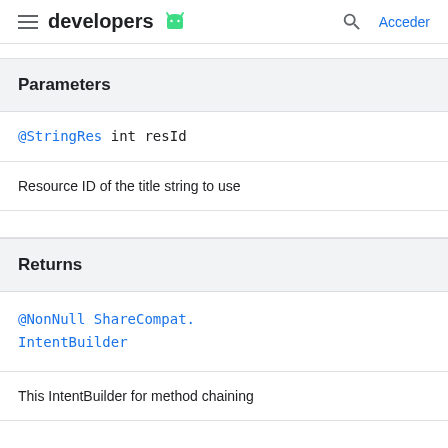developers | Acceder
Parameters
@StringRes int resId
Resource ID of the title string to use
Returns
@NonNull ShareCompat.IntentBuilder
This IntentBuilder for method chaining